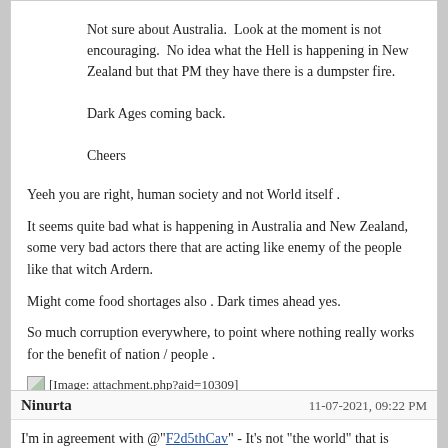Not sure about Australia.  Look at the moment is not encouraging.  No idea what the Hell is happening in New Zealand but that PM they have there is a dumpster fire.

Dark Ages coming back.

Cheers
Yeeh you are right, human society and not World itself .
It seems quite bad what is happening in Australia and New Zealand, some very bad actors there that are acting like enemy of the people like that witch Ardern.
Might come food shortages also . Dark times ahead yes.
So much corruption everywhere, to point where nothing really works for the benefit of nation / people .
[Figure (other): [Image: attachment.php?aid=10309]]
Ninurta | 11-07-2021, 09:22 PM
I'm in agreement with @"F2d5thCav" - It's not "the world" that is accelerating towards destruction, it is the current societal systems racing